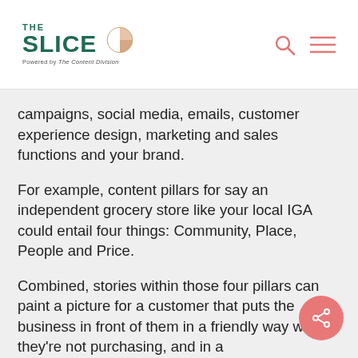THE SLICE — Powered by The Content Division
campaigns, social media, emails, customer experience design, marketing and sales functions and your brand.
For example, content pillars for say an independent grocery store like your local IGA could entail four things: Community, Place, People and Price.
Combined, stories within those four pillars can paint a picture for a customer that puts the business in front of them in a friendly way when they're not purchasing, and in a